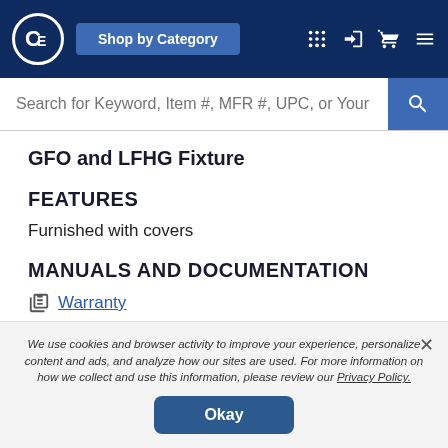[Figure (screenshot): Website navigation bar with company logo (C/E), Shop by Category button, and icons for grid, login, cart, and menu on dark blue background]
[Figure (screenshot): Search bar with placeholder text: Search for Keyword, Item #, MFR #, UPC, or Your P, and a blue search button with magnifying glass icon]
GFO and LFHG Fixture
FEATURES
Furnished with covers
MANUALS AND DOCUMENTATION
Warranty
Specification Sheet
We use cookies and browser activity to improve your experience, personalize content and ads, and analyze how our sites are used. For more information on how we collect and use this information, please review our Privacy Policy.